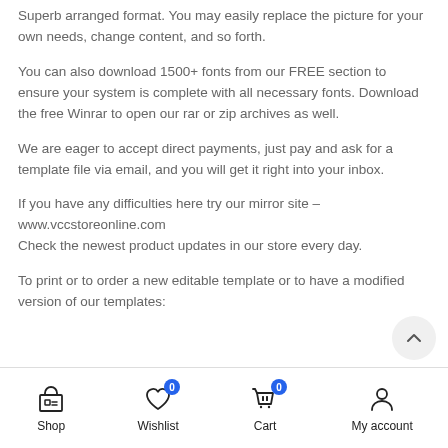Superb arranged format. You may easily replace the picture for your own needs, change content, and so forth.
You can also download 1500+ fonts from our FREE section to ensure your system is complete with all necessary fonts. Download the free Winrar to open our rar or zip archives as well.
We are eager to accept direct payments, just pay and ask for a template file via email, and you will get it right into your inbox.
If you have any difficulties here try our mirror site – www.vccstoreonline.com
Check the newest product updates in our store every day.
To print or to order a new editable template or to have a modified version of our templates:
Shop  Wishlist  Cart  My account